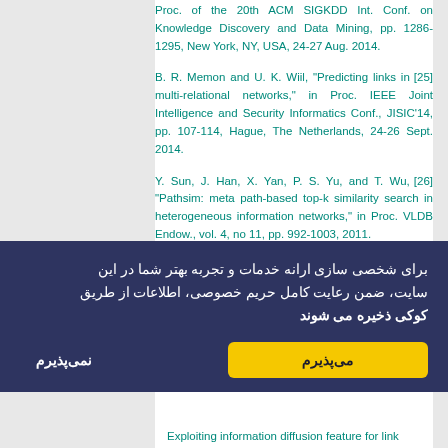Proc. of the 20th ACM SIGKDD Int. Conf. on Knowledge Discovery and Data Mining, pp. 1286-1295, New York, NY, USA, 24-27 Aug. 2014.
[25] B. R. Memon and U. K. Wiil, "Predicting links in multi-relational networks," in Proc. IEEE Joint Intelligence and Security Informatics Conf., JISIC'14, pp. 107-114, Hague, The Netherlands, 24-26 Sept. 2014.
[26] Y. Sun, J. Han, X. Yan, P. S. Yu, and T. Wu, "Pathsim: meta path-based top-k similarity search in heterogeneous information networks," in Proc. VLDB Endow., vol. 4, no 11, pp. 992-1003, 2011.
[27] J. Tang, T. Lou, and J. Kleinberg, "Inferring Exploiting information diffusion feature for link
برای شخصی سازی ارانه خدمات و تجربه بهتر شما در این سایت، ضمن رعایت کامل حریم خصوصی، اطلاعات از طریق کوکی ذخیره می شوند